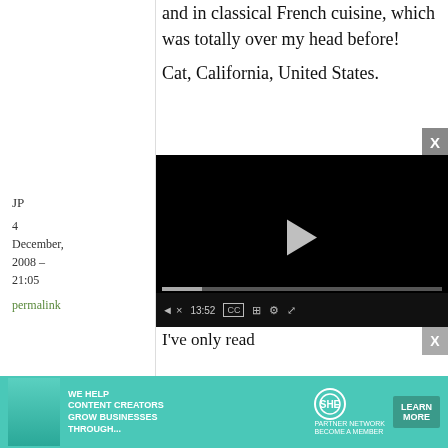and in classical French cuisine, which was totally over my head before!
Cat, California, United States.
JP
4 December, 2008 – 21:05
permalink
[Figure (screenshot): Embedded video player with black background, play button, progress bar showing 13:52 timestamp, and controls bar with volume, CC, chapters, settings, and fullscreen buttons]
I've only read
[Figure (infographic): Advertisement banner: teal background with woman photo, text WE HELP CONTENT CREATORS GROW BUSINESSES THROUGH..., SHE PARTNER NETWORK logo, BECOME A MEMBER, LEARN MORE button]